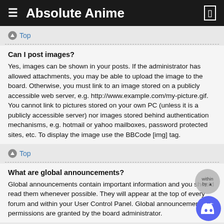Absolute Anime
Top
Can I post images?
Yes, images can be shown in your posts. If the administrator has allowed attachments, you may be able to upload the image to the board. Otherwise, you must link to an image stored on a publicly accessible web server, e.g. http://www.example.com/my-picture.gif. You cannot link to pictures stored on your own PC (unless it is a publicly accessible server) nor images stored behind authentication mechanisms, e.g. hotmail or yahoo mailboxes, password protected sites, etc. To display the image use the BBCode [img] tag.
Top
What are global announcements?
Global announcements contain important information and you should read them whenever possible. They will appear at the top of every forum and within your User Control Panel. Global announcement permissions are granted by the board administrator.
Top
What are announcements?